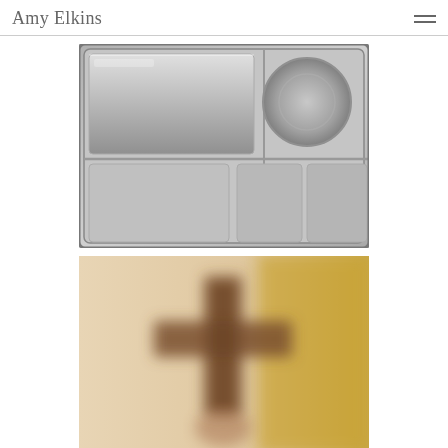Amy Elkins
[Figure (photo): Close-up photograph of a stainless steel institutional food tray with multiple compartments, including a round well and several rectangular sections, shot in monochrome/grayscale.]
[Figure (photo): Blurred/out-of-focus photograph showing a cross or figure shape in warm beige and brown tones against a yellow/golden background.]